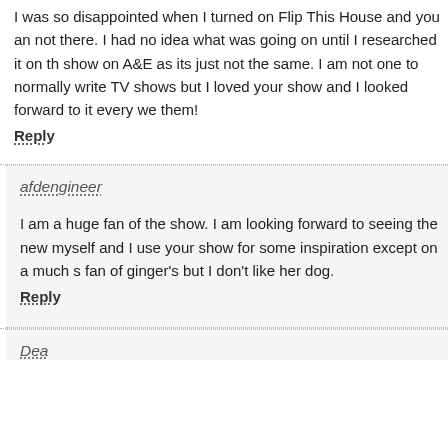I was so disappointed when I turned on Flip This House and you an not there. I had no idea what was going on until I researched it on th show on A&E as its just not the same. I am not one to normally write TV shows but I loved your show and I looked forward to it every we them!
Reply
afdengineer
I am a huge fan of the show. I am looking forward to seeing the new myself and I use your show for some inspiration except on a much s fan of ginger's but I don't like her dog.
Reply
Dea